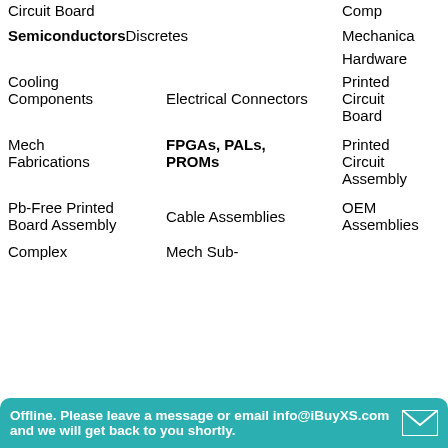Circuit Board
Comp
Semiconductors Discretes
Mechanica
Hardware
Cooling Components
Electrical Connectors
Printed Circuit Board
Mech Fabrications
FPGAs, PALs, PROMs
Printed Circuit Assembly
Pb-Free Printed Board Assembly
Cable Assemblies
OEM Assemblies
Complex
Mech Sub-
Offline. Please leave a message or email info@iBuyXS.com and we will get back to you shortly.